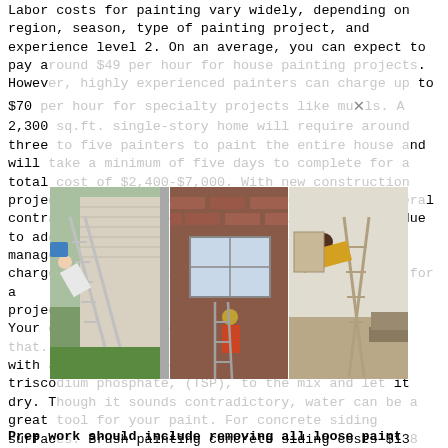Labor costs for painting vary widely, depending on region, season, type of painting project, and experience level 2. On an average, you can expect to pay around $49 per hour for house painting projects. However, highly experienced painters can charge up to $70 per hour for specialty projects like murals. A 2,300 sq.ft. single-story home will require around three to five painters to paint the entire house and will take a minimum of five days to complete for a total cost of $2,400-$7,000. With new construction projects, you'll generally pay more than what general contractors charge for remodeling and renovation due to additional work such as high-access work, management, and supervision. Some contractors charge a flat fee while others charge by the hour for a project. Your contractor can give you a quote on that. First with a damp rag, remove any dusty surface or trim trisodium phosphate, (TSP), to the mix and let it dry. Though it sounds contradictory, water can be a great tool for your paint. For concrete siding surfaces. Brush painting concrete siding costs $138 per 100 sq. ft., roll painting costs $50 per 100 sq. ft., and spray painting $32 per 100 sq. ft. Broomfield Home Painting
[Figure (photo): Three side-by-side photos showing house painting scenarios with ladders and painters]
Prep work should include removing all loose paint